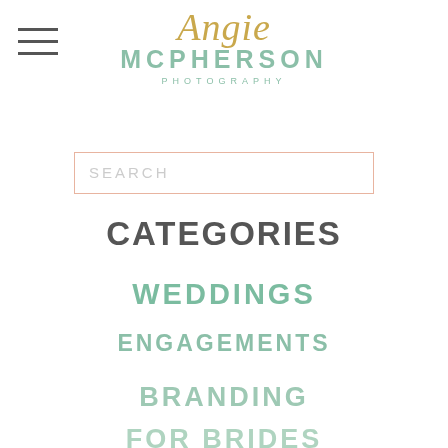[Figure (logo): Angie McPherson Photography logo with script gold text 'Angie' and green sans-serif 'MCPHERSON PHOTOGRAPHY']
SEARCH
CATEGORIES
WEDDINGS
ENGAGEMENTS
BRANDING
FOR BRIDES